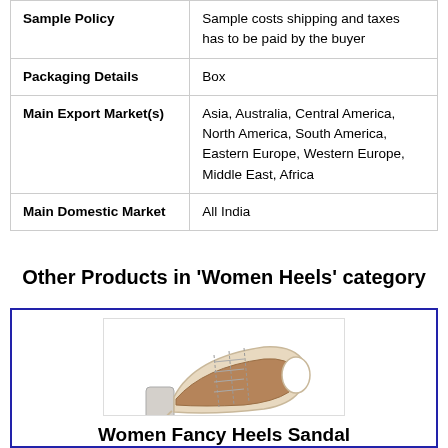|  |  |
| --- | --- |
| Sample Policy | Sample costs shipping and taxes has to be paid by the buyer |
| Packaging Details | Box |
| Main Export Market(s) | Asia, Australia, Central America, North America, South America, Eastern Europe, Western Europe, Middle East, Africa |
| Main Domestic Market | All India |
Other Products in 'Women Heels' category
[Figure (photo): A women's fancy heels sandal in beige/cream color with open toe, lace-up front, block heel, and white platform sole]
Women Fancy Heels Sandal